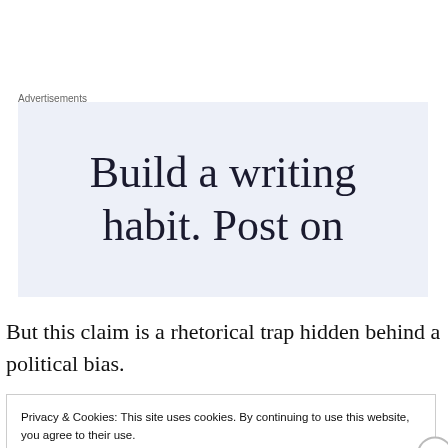Advertisements
[Figure (illustration): Advertisement banner with text 'Build a writing habit. Post on' on a light blue-gray background]
But this claim is a rhetorical trap hidden behind a political bias.
Privacy & Cookies: This site uses cookies. By continuing to use this website, you agree to their use.
To find out more, including how to control cookies, see here: Cookie Policy